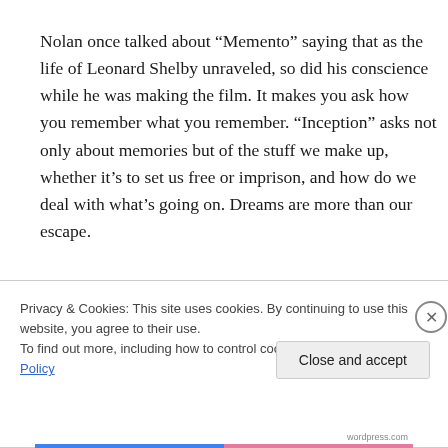Nolan once talked about “Memento” saying that as the life of Leonard Shelby unraveled, so did his conscience while he was making the film. It makes you ask how you remember what you remember. “Inception” asks not only about memories but of the stuff we make up, whether it’s to set us free or imprison, and how do we deal with what’s going on. Dreams are more than our escape.
Privacy & Cookies: This site uses cookies. By continuing to use this website, you agree to their use.
To find out more, including how to control cookies, see here: Cookie Policy